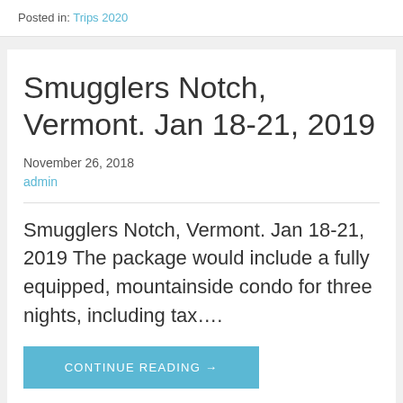Posted in: Trips 2020
Smugglers Notch, Vermont. Jan 18-21, 2019
November 26, 2018
admin
Smugglers Notch, Vermont. Jan 18-21, 2019 The package would include a fully equipped, mountainside condo for three nights, including tax….
CONTINUE READING →